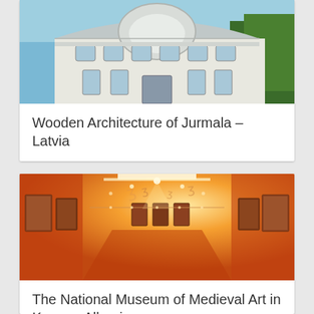[Figure (photo): Photograph of a white ornate building with arched windows and dome-like roof structure, Wooden Architecture of Jurmala, Latvia, with trees visible on the right and blue sky above.]
Wooden Architecture of Jurmala – Latvia
[Figure (photo): Interior photograph of a museum gallery with orange/red walls lined with framed paintings and icons, bright ceiling track lighting creating a warm glow, depicting The National Museum of Medieval Art in Korca, Albania.]
The National Museum of Medieval Art in Korca – Albania